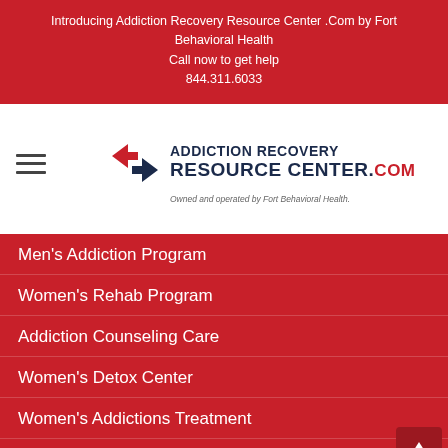Introducing Addiction Recovery Resource Center .Com by Fort Behavioral Health
Call now to get help
844.311.6033
[Figure (logo): Addiction Recovery Resource Center .com logo with stylized icon, dark navy and red color scheme. Tagline: Owned and operated by Fort Behavioral Health.]
Men's Addiction Program
Women's Rehab Program
Addiction Counseling Care
Women's Detox Center
Women's Addictions Treatment
Daughter of a Drug Addict